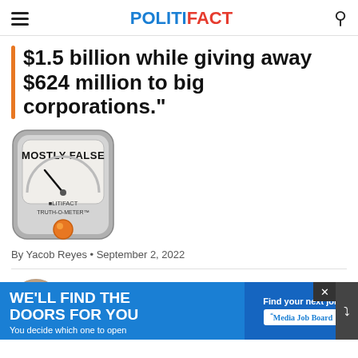POLITIFACT
$1.5 billion while giving away $624 million to big corporations."
[Figure (illustration): PolitiFact Truth-O-Meter gauge showing MOSTLY FALSE rating with orange indicator light]
By Yacob Reyes • September 2, 2022
[Figure (photo): Circular avatar photo of Tom Cotton]
Tom Cotton
[Figure (infographic): Advertisement banner: WE'LL FIND THE DOORS FOR YOU. You decide which one to open. Find your next job. Media Job Board.]